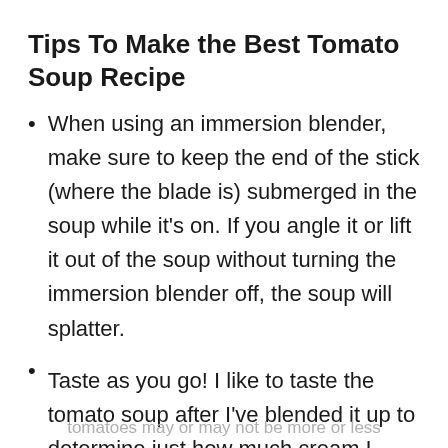Tips To Make the Best Tomato Soup Recipe
When using an immersion blender, make sure to keep the end of the stick (where the blade is) submerged in the soup while it's on. If you angle it or lift it out of the soup without turning the immersion blender off, the soup will splatter.
Taste as you go! I like to taste the tomato soup after I've blended it up to determine just how much cream I should add. Your
tomatoes may or may not be more or less